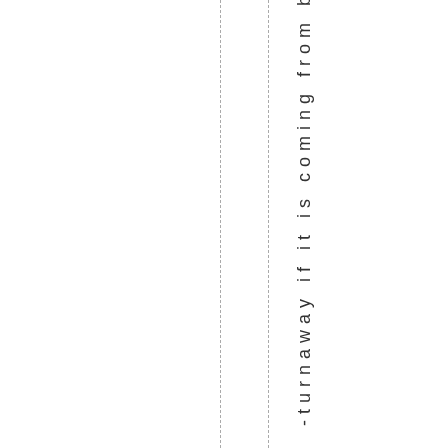-turnaway if it is coming from b
[Figure (other): Two vertical dashed lines running top to bottom of the page, positioned at roughly x=220 and x=268]